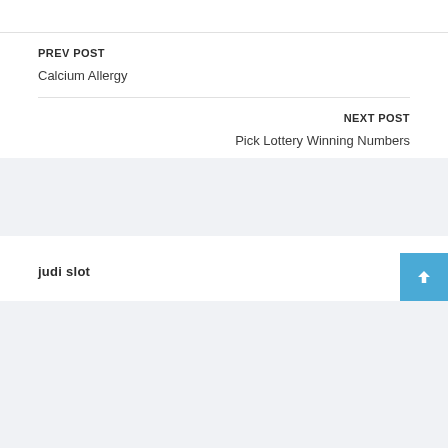PREV POST
Calcium Allergy
NEXT POST
Pick Lottery Winning Numbers
judi slot